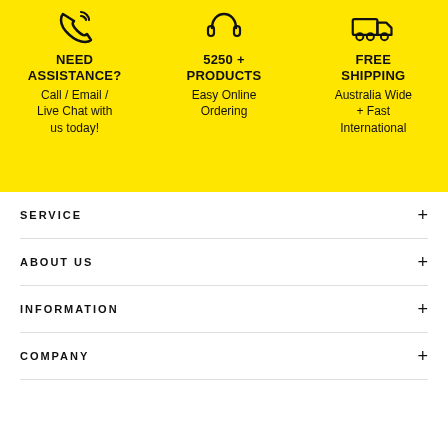[Figure (infographic): Three-column yellow infographic section with icons. Column 1: phone/chat icon, 'NEED ASSISTANCE?', 'Call / Email / Live Chat with us today!'. Column 2: products/box icon, '5250 + PRODUCTS', 'Easy Online Ordering'. Column 3: delivery truck icon, 'FREE SHIPPING', 'Australia Wide + Fast International'.]
SERVICE +
ABOUT US +
INFORMATION +
COMPANY +
CONTACT US
1300 454 182